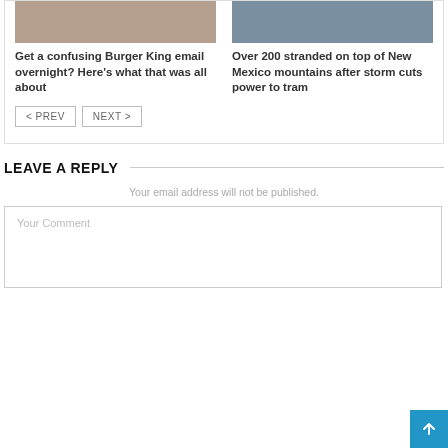[Figure (photo): Photo of a burger with fries]
[Figure (photo): Photo of a tram/gondola on a mountain]
Get a confusing Burger King email overnight? Here's what that was all about
Over 200 stranded on top of New Mexico mountains after storm cuts power to tram
< PREV   NEXT >
LEAVE A REPLY
Your email address will not be published.
Your Comment